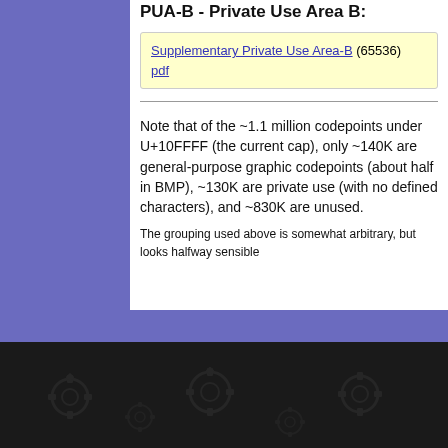PUA-B - Private Use Area B:
Supplementary Private Use Area-B (65536) pdf
Note that of the ~1.1 million codepoints under U+10FFFF (the current cap), only ~140K are general-purpose graphic codepoints (about half in BMP), ~130K are private use (with no defined characters), and ~830K are unused.
The grouping used above is somewhat arbitrary, but looks halfway sensible
[Figure (illustration): Dark background with repeating gear/cog pattern overlay]